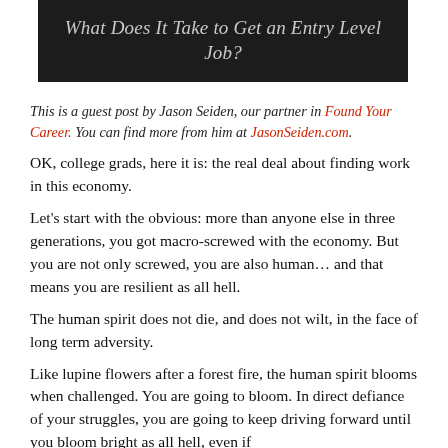[Figure (photo): Dark background image (graduation caps) with the text 'What Does It Take to Get an Entry Level Job?' overlaid in light/white italic text]
This is a guest post by Jason Seiden, our partner in Found Your Career. You can find more from him at JasonSeiden.com.
OK, college grads, here it is: the real deal about finding work in this economy.
Let’s start with the obvious: more than anyone else in three generations, you got macro-screwed with the economy. But you are not only screwed, you are also human… and that means you are resilient as all hell.
The human spirit does not die, and does not wilt, in the face of long term adversity.
Like lupine flowers after a forest fire, the human spirit blooms when challenged. You are going to bloom. In direct defiance of your struggles, you are going to keep driving forward until you bloom bright as all hell, even if